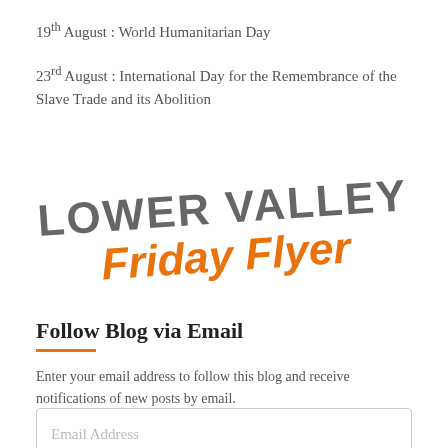19th August : World Humanitarian Day
23rd August : International Day for the Remembrance of the Slave Trade and its Abolition
[Figure (logo): Lower Valley Friday Flyer logo — 'LOWER VALLEY' in bold grey uppercase letters and 'Friday Flyer' in bold italic orange, slightly rotated counter-clockwise]
Follow Blog via Email
Enter your email address to follow this blog and receive notifications of new posts by email.